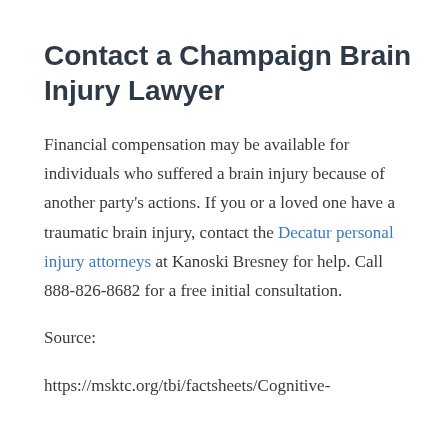Contact a Champaign Brain Injury Lawyer
Financial compensation may be available for individuals who suffered a brain injury because of another party's actions. If you or a loved one have a traumatic brain injury, contact the Decatur personal injury attorneys at Kanoski Bresney for help. Call 888-826-8682 for a free initial consultation.
Source:
https://msktc.org/tbi/factsheets/Cognitive-